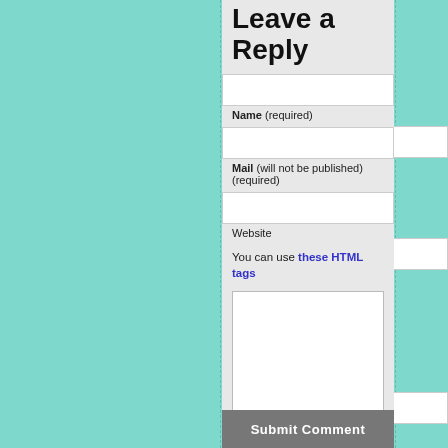Leave a Reply
Name (required)
Mail (will not be published) (required)
Website
You can use these HTML tags
[Figure (screenshot): Comment text area input box]
Submit Comment